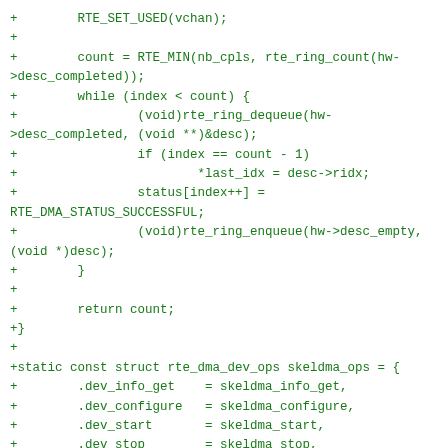+        RTE_SET_USED(vchan);
+
+        count = RTE_MIN(nb_cpls, rte_ring_count(hw->desc_completed));
+        while (index < count) {
+                (void)rte_ring_dequeue(hw->desc_completed, (void **)&desc);
+                if (index == count - 1)
+                        *last_idx = desc->ridx;
+                status[index++] =
RTE_DMA_STATUS_SUCCESSFUL;
+                (void)rte_ring_enqueue(hw->desc_empty,
(void *)desc);
+        }
+
+        return count;
+}
+
+static const struct rte_dma_dev_ops skeldma_ops = {
+        .dev_info_get    = skeldma_info_get,
+        .dev_configure   = skeldma_configure,
+        .dev_start       = skeldma_start,
+        .dev_stop        = skeldma_stop,
+        .dev_close       = skeldma_close,
+
+        .vchan_setup     = skeldma_vchan_setup,
+
+        .stats_get       = skeldma_stats_get,
+        .stats_reset     = skeldma_stats_reset,
+